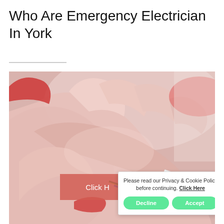Who Are Emergency Electrician In York
[Figure (photo): Close-up photo of a person's hands holding and working with electrical wires, including green/yellow earth wire, blue wire, and white cable, with red tools visible in background]
Click H...
Please read our Privacy & Cookie Policy before continuing. Click Here
Decline
Accept